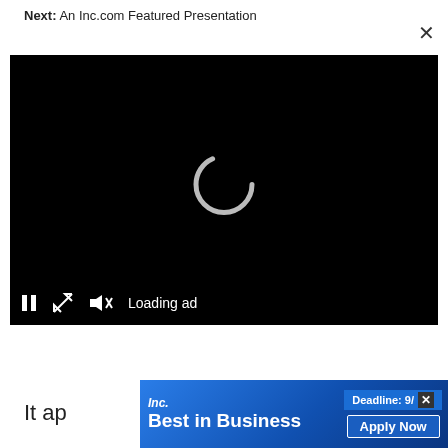Next: An Inc.com Featured Presentation
[Figure (screenshot): Video player with black background showing a loading spinner and playback controls (pause, resize, mute) with 'Loading ad' text]
It ap...oint
[Figure (screenshot): Inc. Best in Business advertisement banner with 'Deadline: 9/1' and 'Apply Now' button]